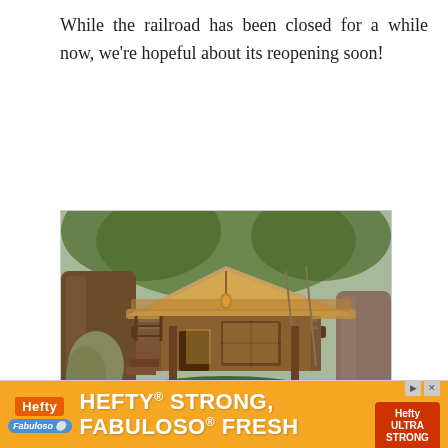While the railroad has been closed for a while now, we're hopeful about its reopening soon!
[Figure (photo): A Disney treehouse attraction photo showing a wooden elevated structure with thatched roof, rope railings, bamboo elements, surrounded by large tree trunks and tropical foliage.]
Credit: Disney
[Figure (infographic): Hefty and Fabuloso advertisement banner: orange background with logos and text 'HEFTY STRONG, FABULOSO FRESH']